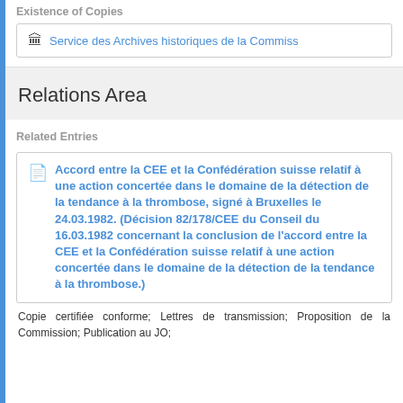Existence of Copies
🏛 Service des Archives historiques de la Commiss
Relations Area
Related Entries
Accord entre la CEE et la Confédération suisse relatif à une action concertée dans le domaine de la détection de la tendance à la thrombose, signé à Bruxelles le 24.03.1982. (Décision 82/178/CEE du Conseil du 16.03.1982 concernant la conclusion de l'accord entre la CEE et la Confédération suisse relatif à une action concertée dans le domaine de la détection de la tendance à la thrombose.)
Copie certifiée conforme; Lettres de transmission; Proposition de la Commission; Publication au JO;